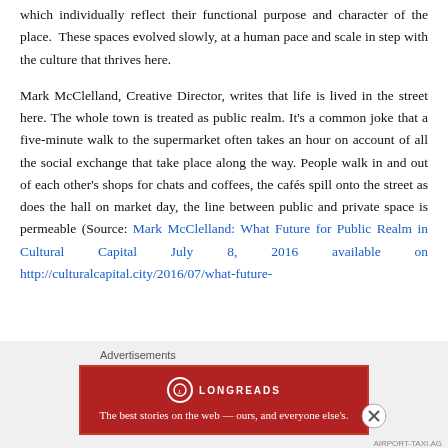which individually reflect their functional purpose and character of the place. These spaces evolved slowly, at a human pace and scale in step with the culture that thrives here.
Mark McClelland, Creative Director, writes that life is lived in the street here. The whole town is treated as public realm. It's a common joke that a five-minute walk to the supermarket often takes an hour on account of all the social exchange that take place along the way. People walk in and out of each other's shops for chats and coffees, the cafés spill onto the street as does the hall on market day, the line between public and private space is permeable (Source: Mark McClelland: What Future for Public Realm in Cultural Capital July 8, 2016 available on http://culturalcapital.city/2016/07/what-future-
[Figure (other): Longreads advertisement banner with red background. Logo circle on left, brand name LONGREADS in center with decorative lines, tagline: The best stories on the web — ours, and everyone else's.]